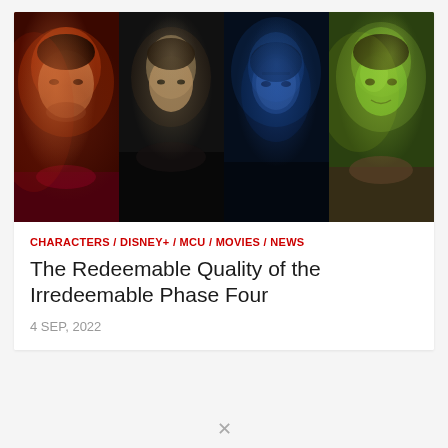[Figure (photo): A horizontal strip of four movie/TV character portrait photos: (1) Shang-Chi character with red dramatic lighting, (2) dark-toned archer/character in shadows, (3) blue-lit character in close-up, (4) She-Hulk character with green skin smiling]
CHARACTERS / DISNEY+ / MCU / MOVIES / NEWS
The Redeemable Quality of the Irredeemable Phase Four
4 SEP, 2022